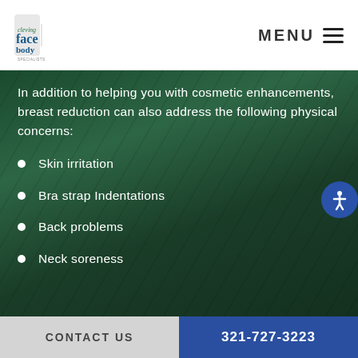Cleving Face & Body Specialists — MENU
In addition to helping you with cosmetic enhancements, breast reduction can also address the following physical concerns:
Skin irritation
Bra strap Indentations
Back problems
Neck soreness
CONTACT US  321-727-3223